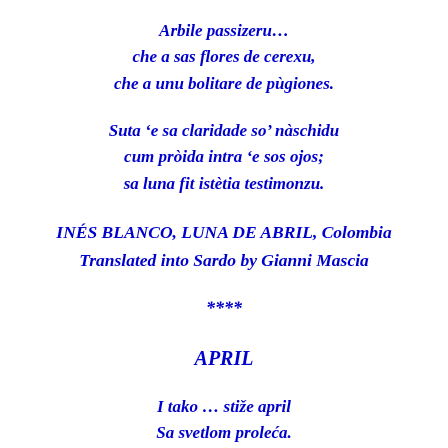Arbile passizeru…
che a sas flores de cerexu,
che a unu bolitare de pùgiones.
Suta 'e sa claridade so' nàschidu
cum pròida intra 'e sos ojos;
sa luna fit istètia testimonzu.
INÉS BLANCO, LUNA DE ABRIL, Colombia
Translated into Sardo by Gianni Mascia
****
APRIL
I tako … stiže april
Sa svetlom proleća.